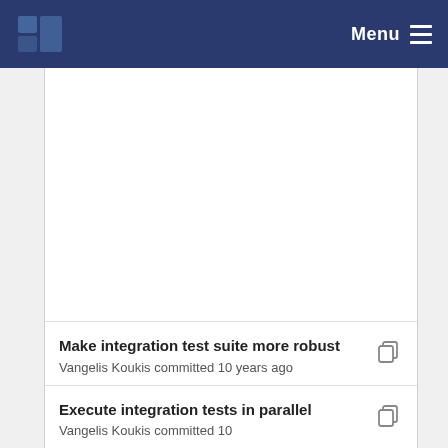Menu
[Figure (screenshot): White empty content area representing a code/repository view]
Make integration test suite more robust
Vangelis Koukis committed 10 years ago
Execute integration tests in parallel
Vangelis Koukis committed 10